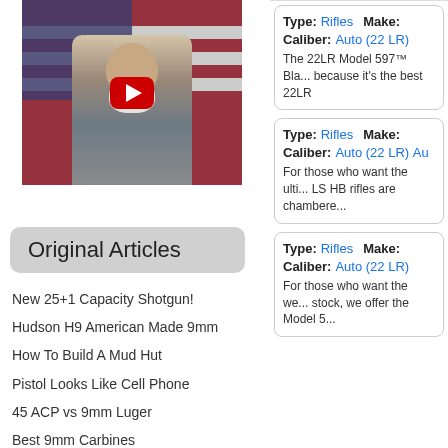[Figure (screenshot): Video thumbnail showing elderly man with white beard in front of American flag, with red YouTube play button overlay]
Original Articles
New 25+1 Capacity Shotgun!
Hudson H9 American Made 9mm
How To Build A Mud Hut
Pistol Looks Like Cell Phone
45 ACP vs 9mm Luger
Best 9mm Carbines
Type: Rifles  Make:
Caliber: Auto (22 LR)
The 22LR Model 597™ Bla... because it's the best 22LR
Type: Rifles  Make:
Caliber: Auto (22 LR) Au...
For those who want the ulti... LS HB rifles are chambere...
Type: Rifles  Make:
Caliber: Auto (22 LR)
For those who want the we... stock, we offer the Model 5...